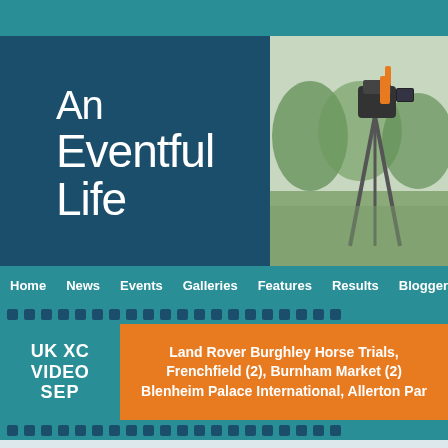[Figure (logo): An Eventful Life logo — white handwritten text on dark teal/navy background]
[Figure (photo): Photo of a video camera on a tripod at an outdoor equestrian event with green field and trees in background]
Home | News | Events | Galleries | Features | Results | Bloggers
UK XC VIDEO SEP — Land Rover Burghley Horse Trials, Frenchfield (2), Burnham Market (2) Blenheim Palace International, Allerton Par
Home » Swalcliffe Park » 2021 » Bill Levett on Tiger's Legacy at Swalcliffe Par